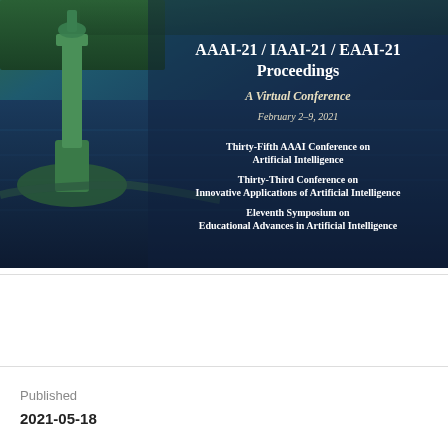[Figure (photo): Cover image of AAAI-21/IAAI-21/EAAI-21 Proceedings showing an aerial photograph of a waterway with a green statue/monument base visible on the left, surrounded by water and green trees. Overlaid text displays conference title and details on a teal/dark blue background.]
AAAI-21 / IAAI-21 / EAAI-21 Proceedings
A Virtual Conference
February 2–9, 2021
Thirty-Fifth AAAI Conference on Artificial Intelligence
Thirty-Third Conference on Innovative Applications of Artificial Intelligence
Eleventh Symposium on Educational Advances in Artificial Intelligence
PDF
Published
2021-05-18